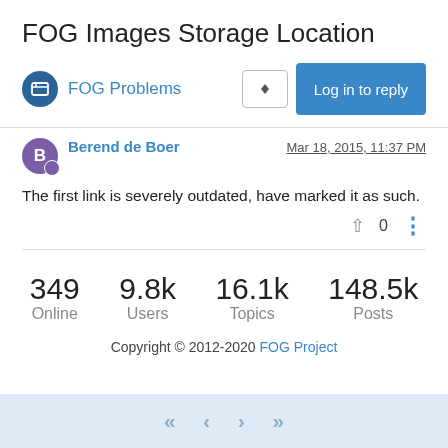FOG Images Storage Location
FOG Problems
Berend de Boer   Mar 18, 2015, 11:37 PM
The first link is severely outdated, have marked it as such.
349 Online   9.8k Users   16.1k Topics   148.5k Posts
Copyright © 2012-2020 FOG Project